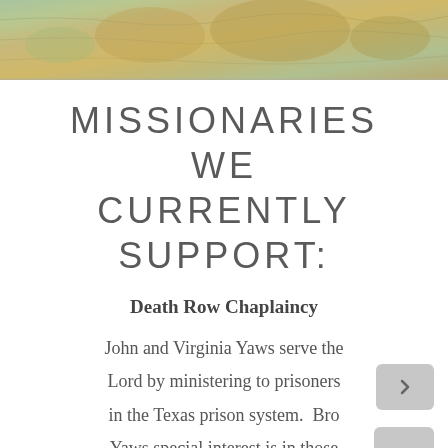[Figure (illustration): Decorative antique world map banner image showing continents in muted greens and tans]
MISSIONARIES WE CURRENTLY SUPPORT:
Death Row Chaplaincy
John and Virginia Yaws serve the Lord by ministering to prisoners in the Texas prison system. Bro Yaws special interest is in those